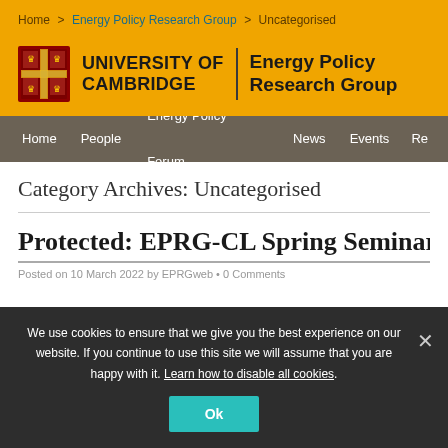Home > Energy Policy Research Group > Uncategorised
[Figure (logo): University of Cambridge shield logo with Energy Policy Research Group wordmark on yellow background]
Home  People  Energy Policy Forum  News  Events  Re…
Category Archives: Uncategorised
Protected: EPRG-CL Spring Seminar 2…
Posted on 10 March 2022 by EPRGweb • 0 Comments
We use cookies to ensure that we give you the best experience on our website. If you continue to use this site we will assume that you are happy with it. Learn how to disable all cookies.